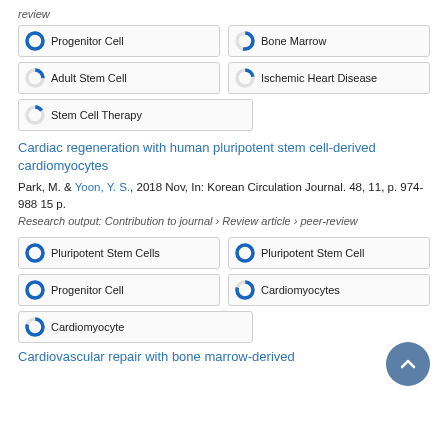review
Progenitor Cell 100%
Bone Marrow ~55%
Adult Stem Cell ~25%
Ischemic Heart Disease ~22%
Stem Cell Therapy ~15%
Cardiac regeneration with human pluripotent stem cell-derived cardiomyocytes
Park, M. & Yoon, Y. S., 2018 Nov, In: Korean Circulation Journal. 48, 11, p. 974-988 15 p.
Research output: Contribution to journal › Review article › peer-review
Pluripotent Stem Cells 100%
Pluripotent Stem Cell 100%
Progenitor Cell 100%
Cardiomyocytes ~80%
Cardiomyocyte ~80%
Cardiovascular repair with bone marrow-derived